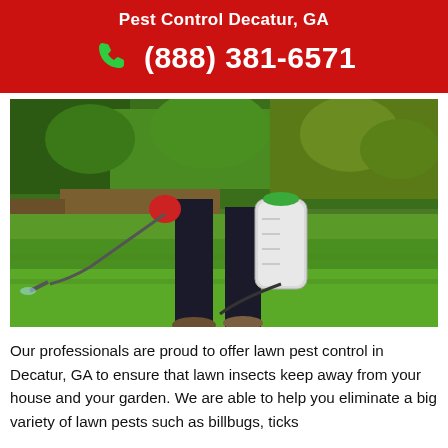Pest Control Decatur, GA
(888) 381-6571
[Figure (photo): A pest control professional wearing black pants and red gloves, carrying a white spray tank/backpack sprayer, walking on a green lawn with a garden in the background. The person is spraying pesticide on the grass.]
Our professionals are proud to offer lawn pest control in Decatur, GA to ensure that lawn insects keep away from your house and your garden. We are able to help you eliminate a big variety of lawn pests such as billbugs, ticks